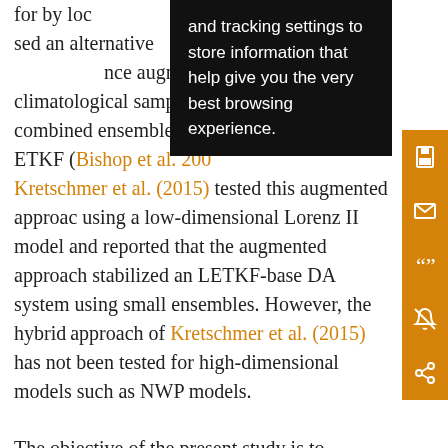for by loc... Hamill et al. ... used an alternative... y. They intro... nce augmenting... with climatological sample of perturbations. This combined ensemble was then used in the ETKF (Bishop et al. 200... Kretschmer et al. (2015) tested this augmented approach using a low-dimensional Lorenz II model and reported that the augmented approach stabilized an LETKF-based DA system using small ensembles. However, the hybrid approach of Kretschmer et al. (2015) has not been tested for high-dimensional models such as NWP models.
[Figure (other): Cookie consent tooltip overlay with black background and white text: 'and tracking settings to store information that help give you the very best browsing experience.']
The objective of the present study is to explore methods for implementing the hybrid approach for NWP models. Following Kretschmer et al. (2015), we construct hybrid